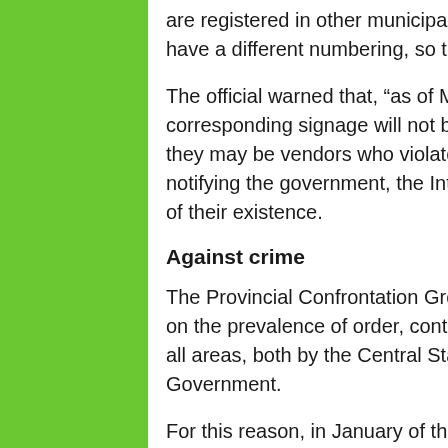are registered in other municipalities, but operate in this city. “These will even have a different numbering, so that people can recognize them,” she said.
The official warned that, “as of March 1, those who do not have the corresponding signage will not be able to do so, and the people will know that they may be vendors who violate the law and will have the possibility of notifying the government, the Integral Direction of Supervision, and the police of their existence.
Against crime
The Provincial Confrontation Group in Cienfuegos continues its actions based on the prevalence of order, control and compliance with what is established in all areas, both by the Central State Administration (oace) and by the Provincial Government.
For this reason, in January of this year, the entities that make up this body carried out actions that not only demonstrate the systemic nature of the monitoring, but also that the violations continue: the